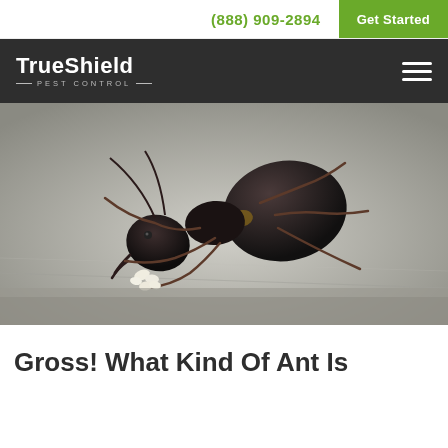(888) 909-2894  Get Started
[Figure (logo): TrueShield Pest Control logo in white text on dark background with hamburger menu icon]
[Figure (photo): Close-up macro photograph of a large black ant carrying white eggs/larvae on a grey surface]
Gross! What Kind Of Ant Is